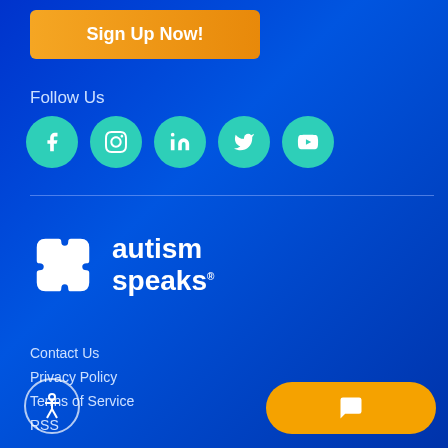Sign Up Now!
Follow Us
[Figure (infographic): Five social media icon circles (Facebook, Instagram, LinkedIn, Twitter, YouTube) in teal/green color on blue background]
[Figure (logo): Autism Speaks logo - white puzzle piece icon with 'autism speaks' text in white]
Contact Us
Privacy Policy
Terms of Service
RSS
[Figure (illustration): Accessibility icon circle (wheelchair person silhouette) in white outline]
[Figure (infographic): Orange chat/messaging button with speech bubble icon]